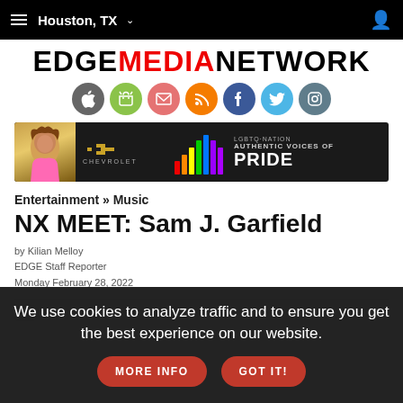Houston, TX
[Figure (logo): EDGE MEDIA NETWORK logo with social media icons row (Apple, Android, Email, RSS, Facebook, Twitter, Instagram)]
[Figure (infographic): Chevrolet x LGBTQ Nation Authentic Voices of Pride advertisement banner with drag queen photo]
Entertainment » Music
NX MEET: Sam J. Garfield
by Kilian Melloy
EDGE Staff Reporter
Monday February 28, 2022
We use cookies to analyze traffic and to ensure you get the best experience on our website.